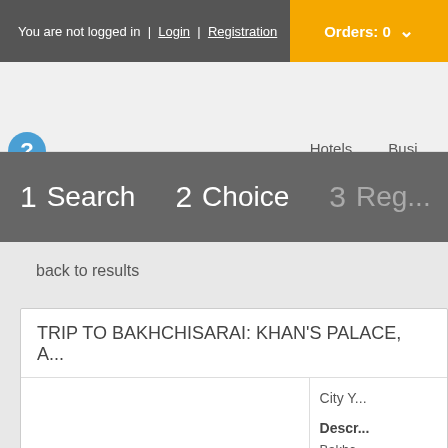You are not logged in | Login | Registration
Orders: 0
Hotels  Busi...
1 Search   2 Choice   3 Reg...
back to results
TRIP TO BAKHCHISARAI: KHAN'S PALACE, A...
City Y...
Descr...
Bakhc...